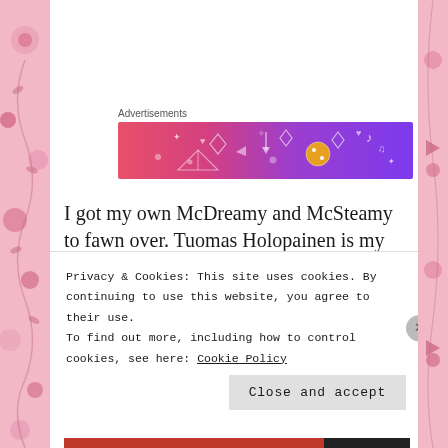Advertisements
[Figure (illustration): Advertisement banner with gradient from pink/red to purple, featuring decorative doodle-style icons including musical notes, diamonds, arrows, dice, and stars on a colorful background]
I got my own McDreamy and McSteamy to fawn over. Tuomas Holopainen is my McDreamy and my McSteamy is Seeb. I was going to pick Mr. Lordi but he’s my Monsterman so that’s good enough.
I’m running out of creativity for these dream posts
Privacy & Cookies: This site uses cookies. By continuing to use this website, you agree to their use.
To find out more, including how to control cookies, see here: Cookie Policy
Close and accept